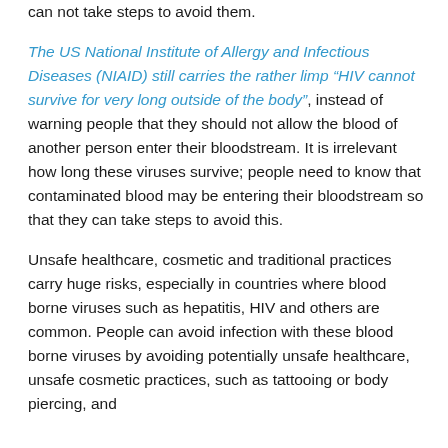can not take steps to avoid them.
The US National Institute of Allergy and Infectious Diseases (NIAID) still carries the rather limp “HIV cannot survive for very long outside of the body”, instead of warning people that they should not allow the blood of another person enter their bloodstream. It is irrelevant how long these viruses survive; people need to know that contaminated blood may be entering their bloodstream so that they can take steps to avoid this.
Unsafe healthcare, cosmetic and traditional practices carry huge risks, especially in countries where blood borne viruses such as hepatitis, HIV and others are common. People can avoid infection with these blood borne viruses by avoiding potentially unsafe healthcare, unsafe cosmetic practices, such as tattooing or body piercing, and